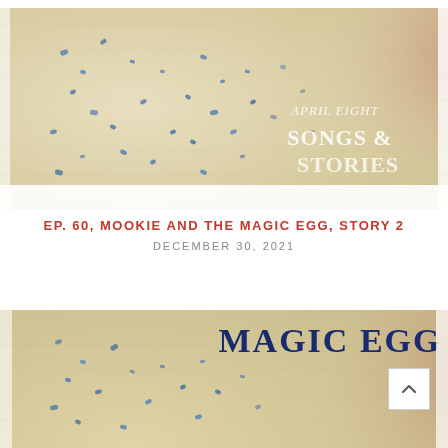[Figure (illustration): Watercolor egg illustration with blue speckles on cream background, with text 'APRIL EIGHT SONGS & STORIES' overlaid in white/light letters on the right side, pink/salmon tones on the right edge]
EP. 60, MOOKIE AND THE MAGIC EGG, STORY 2
DECEMBER 30, 2021
[Figure (illustration): Watercolor egg illustration with blue speckles on cream/tan background, with large text 'MAGIC EGG' in dark navy/blue visible at top, pink/salmon tones on the right edge]